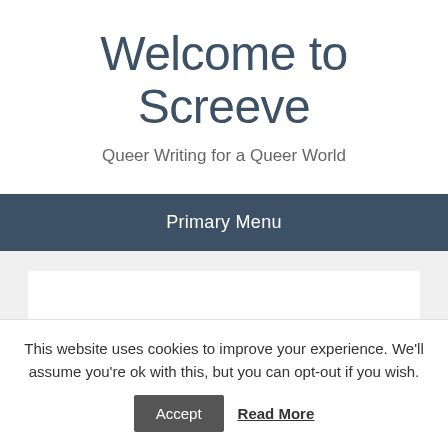Welcome to Screeve
Queer Writing for a Queer World
Primary Menu
Stories by Jolyon Lewes
All stories copyright Jolyon Lewes and reproduced with their kind permission
This website uses cookies to improve your experience. We'll assume you're ok with this, but you can opt-out if you wish.
Accept   Read More